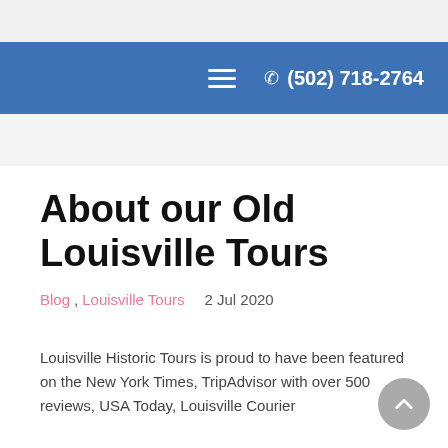≡  ✆ (502) 718-2764
About our Old Louisville Tours
Blog, Louisville Tours   2 Jul 2020
Louisville Historic Tours is proud to have been featured on the New York Times, TripAdvisor with over 500 reviews, USA Today, Louisville Courier...